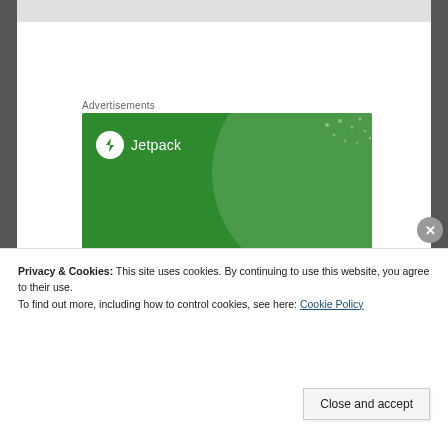Advertisements
[Figure (illustration): Jetpack advertisement banner with green background showing logo and text: The best real-time WordPress backup plugin]
Privacy & Cookies: This site uses cookies. By continuing to use this website, you agree to their use.
To find out more, including how to control cookies, see here: Cookie Policy
Close and accept